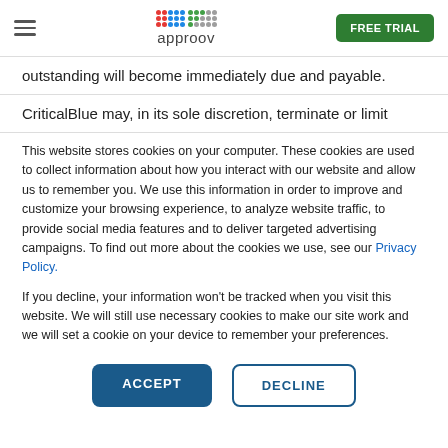approov — FREE TRIAL
outstanding will become immediately due and payable.
CriticalBlue may, in its sole discretion, terminate or limit
This website stores cookies on your computer. These cookies are used to collect information about how you interact with our website and allow us to remember you. We use this information in order to improve and customize your browsing experience, to analyze website traffic, to provide social media features and to deliver targeted advertising campaigns. To find out more about the cookies we use, see our Privacy Policy.
If you decline, your information won't be tracked when you visit this website. We will still use necessary cookies to make our site work and we will set a cookie on your device to remember your preferences.
ACCEPT   DECLINE